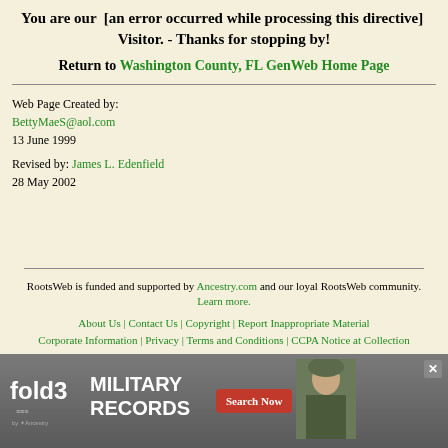You are our  [an error occurred while processing this directive]  Visitor. - Thanks for stopping by!
Return to Washington County, FL GenWeb Home Page
Web Page Created by:
BettyMaeS@aol.com
13 June 1999
Revised by: James L. Edenfield
28 May 2002
RootsWeb is funded and supported by Ancestry.com and our loyal RootsWeb community. Learn more.
About Us | Contact Us | Copyright | Report Inappropriate Material
Corporate Information | Privacy | Terms and Conditions | CCPA Notice at Collection
[Figure (infographic): fold3 Military Records advertisement banner with Search Now button and soldier photo]